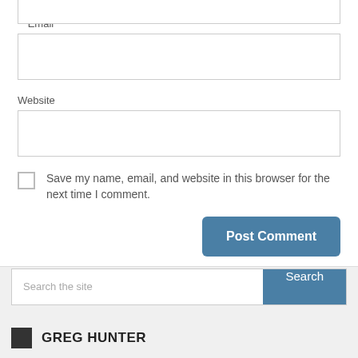* Email
[Figure (other): Email text input field]
Website
[Figure (other): Website text input field]
Save my name, email, and website in this browser for the next time I comment.
Post Comment
Search the site
Search
GREG HUNTER